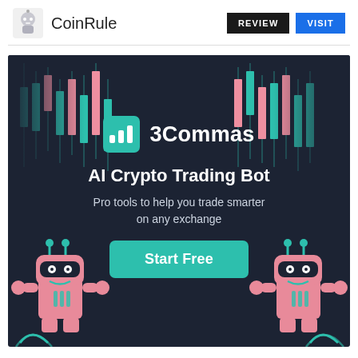CoinRule
[Figure (advertisement): 3Commas AI Crypto Trading Bot advertisement banner with dark background, candlestick chart decorations on left and right, robot mascots on lower left and right. Logo shows '3Commas' brand with teal icon. Text: 'AI Crypto Trading Bot', 'Pro tools to help you trade smarter on any exchange', 'Start Free' button in teal.]